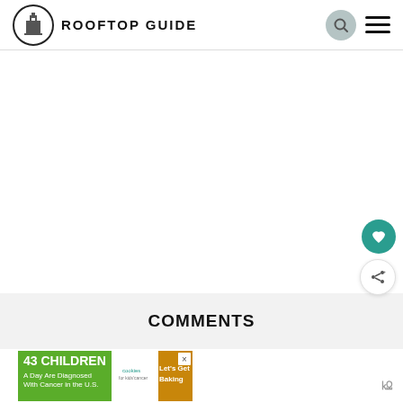ROOFTOP GUIDE
[Figure (other): White blank/empty content area]
COMMENTS
[Figure (other): Advertisement banner: '43 CHILDREN A Day Are Diagnosed With Cancer in the U.S.' with cookies for kids cancer logo and 'Let's Get Baking' text on cookie background]